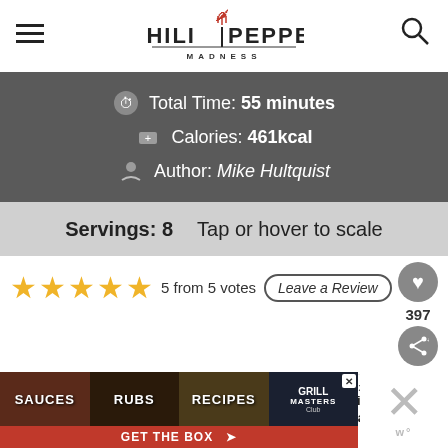[Figure (logo): Chili Pepper Madness logo with hamburger menu and search icon]
Total Time: 55 minutes
Calories: 461kcal
Author: Mike Hultquist
Servings: 8   Tap or hover to scale
5 from 5 votes
Leave a Review
397
WHAT'S NEXT → Cajun Chicken and Sausag...
[Figure (photo): Advertisement banner: SAUCES, RUBS, RECIPES, GRILL MASTERS Club - GET THE BOX]